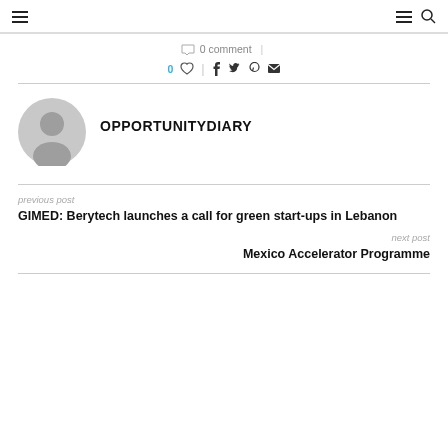Navigation bar with hamburger menu icons and search icon
0 comment
0 ♡ | f t p ✉
[Figure (illustration): Gray default user avatar circle with person silhouette]
OPPORTUNITYDIARY
previous post
GIMED: Berytech launches a call for green start-ups in Lebanon
next post
Mexico Accelerator Programme